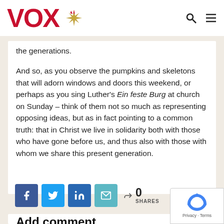VOX
the generations.
And so, as you observe the pumpkins and skeletons that will adorn windows and doors this weekend, or perhaps as you sing Luther’s Ein feste Burg at church on Sunday – think of them not so much as representing opposing ideas, but as in fact pointing to a common truth: that in Christ we live in solidarity both with those who have gone before us, and thus also with those with whom we share this present generation.
[Figure (infographic): Social share buttons: Facebook, Twitter, LinkedIn, Email. Share count: 0 SHARES]
Add comment